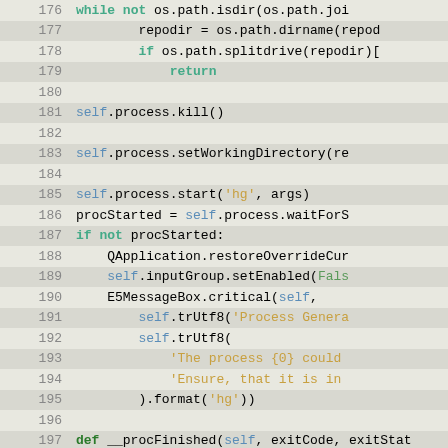[Figure (screenshot): Source code viewer showing Python code lines 176-201 with syntax highlighting. Line numbers on left, code on right with alternating background colors. Keywords in green bold, self/variables in blue, strings in gold/orange, class names in darker green, comments in italic gold.]